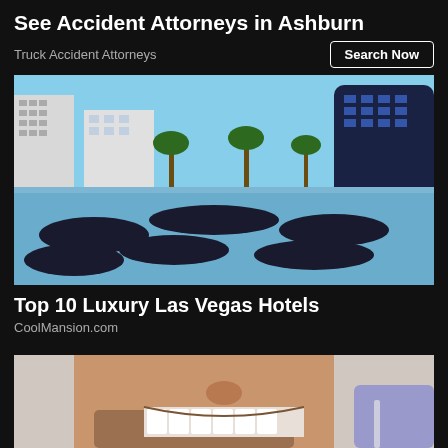See Accident Attorneys in Ashburn
Truck Accident Attorneys
Search Now
[Figure (photo): Luxury hotel pool area in Las Vegas with dark lounge chairs floating on the water, skyscrapers including The Cosmopolitan in the background, blue sky]
Top 10 Luxury Las Vegas Hotels
CoolMansion.com
[Figure (photo): Close-up of a man with a beard smiling, a dental professional in blue gloves examining his teeth, white background]